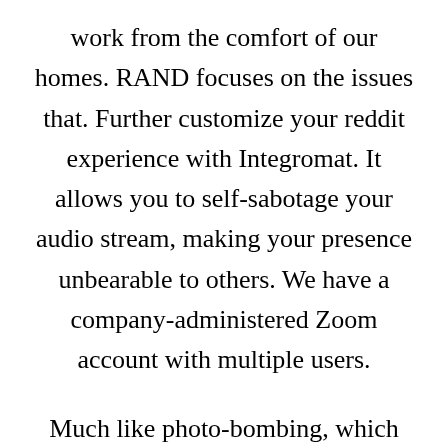work from the comfort of our homes. RAND focuses on the issues that. Further customize your reddit experience with Integromat. It allows you to self-sabotage your audio stream, making your presence unbearable to others. We have a company-administered Zoom account with multiple users.
Much like photo-bombing, which sees people insert themselves into unsuspecting people's snaps, Zoom-bombing refers to the practice of users logging into Zoom calls that they